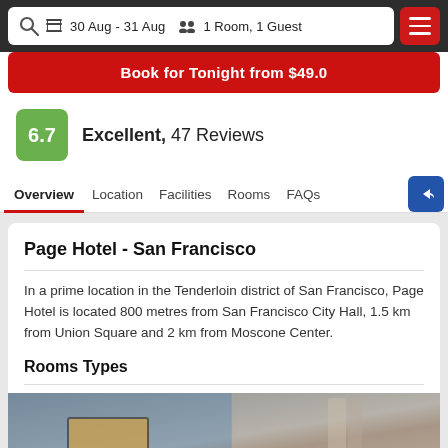30 Aug - 31 Aug  1 Room, 1 Guest
Book for Tonight from $49.0
6.7  Excellent,  47 Reviews
Overview  Location  Facilities  Rooms  FAQs
Page Hotel - San Francisco
In a prime location in the Tenderloin district of San Francisco, Page Hotel is located 800 metres from San Francisco City Hall, 1.5 km from Union Square and 2 km from Moscone Center.
Rooms Types
[Figure (photo): Room interior photo showing walls and curtains]